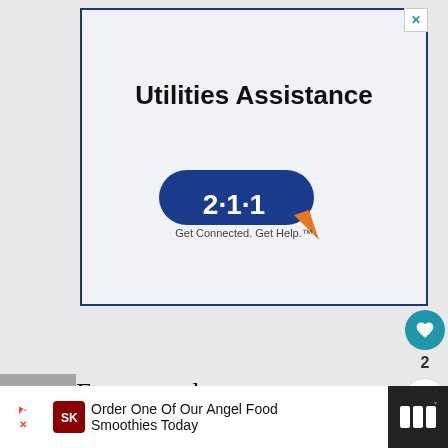[Figure (screenshot): Advertisement banner for 211 Utilities Assistance service. White/light gray background with dark blue border. Title reads 'Utilities Assistance' in bold black text. Below is the 211 logo — a dark blue rounded pill shape with '2·1·1' in white bold text and an orange speech bubble tail, with tagline 'Get Connected. Get Help.' underneath. A close (X) button in teal appears at top right of the ad. A teal heart icon with count '2' and a share icon appear on the right sidebar.]
For example, an incompatible water filter from this brand...
[Figure (screenshot): Bottom advertisement bar for Smoothie King 'Order One Of Our Angel Food Smoothies Today' with Smoothie King logo, navigation arrow, and close button.]
WHAT'S NEXT → How To Reset Amana Ice...